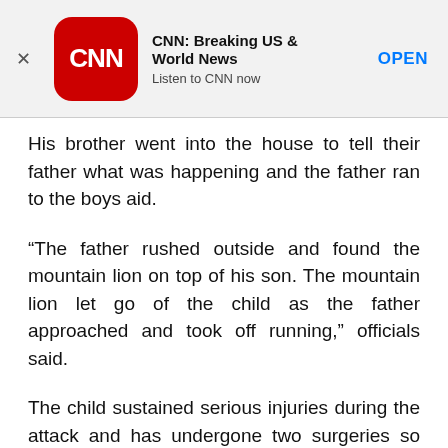[Figure (other): CNN app banner advertisement with CNN logo (red rounded square), app name 'CNN: Breaking US & World News', tagline 'Listen to CNN now', and an OPEN button]
His brother went into the house to tell their father what was happening and the father ran to the boys aid.
“The father rushed outside and found the mountain lion on top of his son. The mountain lion let go of the child as the father approached and took off running,” officials said.
The child sustained serious injuries during the attack and has undergone two surgeries so far, Platt Canyon Fire and Protection said in a Facebook post Monday.